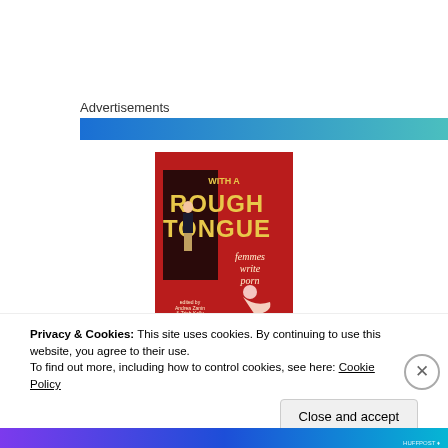Advertisements
[Figure (other): Horizontal gradient bar transitioning from blue on the left to teal/blue-green on the right]
[Figure (photo): Book cover for 'With a Rough Tongue: Femmes Write Porn' with red background, stylized bold yellow text, and illustrated figures of women]
Privacy & Cookies: This site uses cookies. By continuing to use this website, you agree to their use.
To find out more, including how to control cookies, see here: Cookie Policy
Close and accept